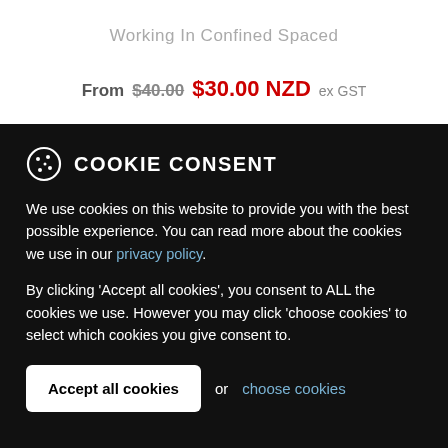Working In Confined Spaced
From $40.00 $30.00 NZD ex GST
COOKIE CONSENT
We use cookies on this website to provide you with the best possible experience. You can read more about the cookies we use in our privacy policy.
By clicking 'Accept all cookies', you consent to ALL the cookies we use. However you may click 'choose cookies' to select which cookies you give consent to.
Accept all cookies  or  choose cookies